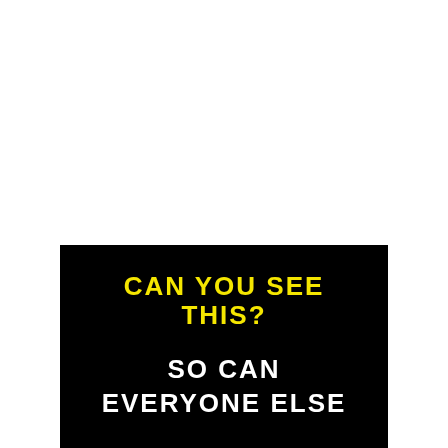CAN YOU SEE THIS?
SO CAN EVERYONE ELSE